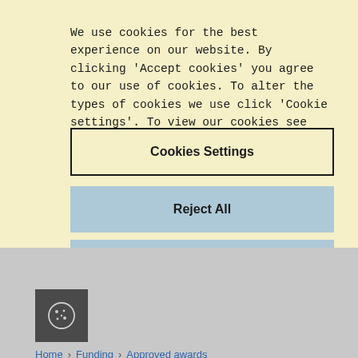We use cookies for the best experience on our website. By clicking 'Accept cookies' you agree to our use of cookies. To alter the types of cookies we use click 'Cookie settings'. To view our cookies see  Cookie Notice
Cookies Settings
Reject All
Accept All Cookies
[Figure (other): Cookie icon in a dark grey square box]
Home > Funding > Approved awards